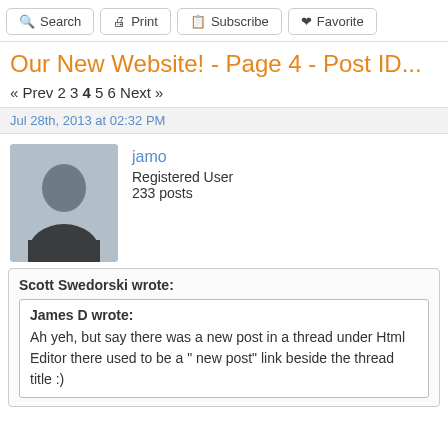Search | Print | Subscribe | Favorite
Our New Website! - Page 4 - Post ID...
« Prev 2 3 4 5 6 Next »
Jul 28th, 2013 at 02:32 PM
[Figure (photo): Default user avatar silhouette on grey background]
jamo
Registered User
233 posts
Scott Swedorski wrote:
James D wrote:
Ah yeh, but say there was a new post in a thread under Html Editor there used to be a " new post" link beside the thread title :)